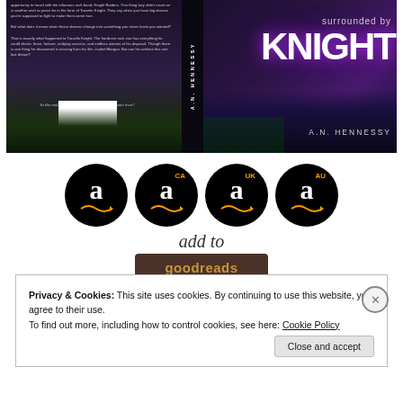[Figure (photo): Book cover for 'Surrounded by Knight' by A.N. Hennessy. Dark purple/black background with crowd silhouettes, guitar. Left side has synopsis text. Spine reads A.N. HENNESSY. Right side shows large white KNIGHT text with purple glow effect, 'surrounded by' above it, and A.N. HENNESSY below.]
[Figure (other): Four Amazon purchase buttons (black circles with Amazon 'a' logo and arrow): US, CA, UK, AU regions]
[Figure (other): Add to Goodreads button with cursive 'add to' text above a dark brown button reading 'goodreads']
Privacy & Cookies: This site uses cookies. By continuing to use this website, you agree to their use.
To find out more, including how to control cookies, see here: Cookie Policy
Close and accept